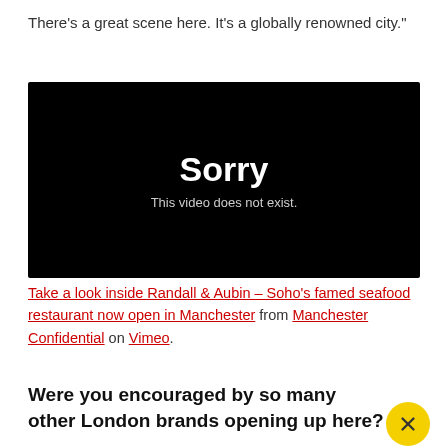There's a great scene here. It's a globally renowned city."
[Figure (screenshot): Vimeo video embed showing error message: Sorry — This video does not exist.]
Take a look inside Randall & Aubin – Soho's famed seafood restaurant now open in Manchester from Manchester Confidential on Vimeo.
Were you encouraged by so many other London brands opening up here?